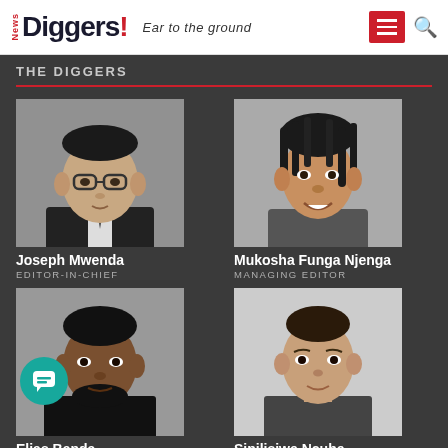News Diggers! Ear to the ground
THE DIGGERS
[Figure (photo): Black and white headshot of Joseph Mwenda, a man wearing glasses and a suit]
Joseph Mwenda
EDITOR-IN-CHIEF
[Figure (photo): Black and white headshot of Mukosha Funga Njenga, a woman with dreadlocks smiling]
Mukosha Funga Njenga
MANAGING EDITOR
[Figure (photo): Black and white headshot of Elias Banda, a young man with beard]
Elias Banda
GENERAL MANAGER
[Figure (photo): Black and white headshot of Sipilisiwe Ncube, a woman with short hair]
Sipilisiwe Ncube
REPORTER
[Figure (photo): Black and white headshot of Londiwe Mbewe, a woman with curly hair smiling]
Londiwe Mbewe
EDITOR
[Figure (photo): Black and white headshot of Ulande Nkomesha, a young man smiling]
Ulande Nkomesha
REPORTER